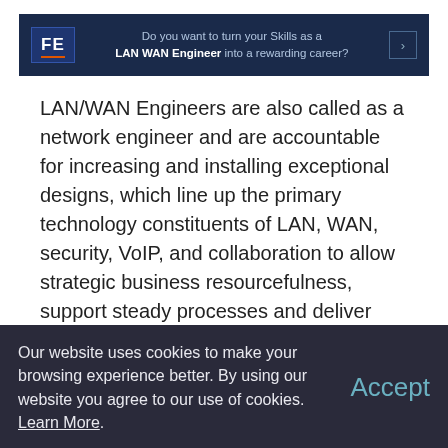[Figure (other): FE branded banner advertisement: dark navy background with FE logo on left, text 'Do you want to turn your Skills as a LAN WAN Engineer into a rewarding career?' in center, right arrow button on right.]
LAN/WAN Engineers are also called as a network engineer and are accountable for increasing and installing exceptional designs, which line up the primary technology constituents of LAN, WAN, security, VoIP, and collaboration to allow strategic business resourcefulness, support steady processes and deliver practical security measures. The engineers will be a member of the global network team, which is in charge of the deployment and task of LAN, WAN, Security, and VoIP.
Principally they are involved in the
Our website uses cookies to make your browsing experience better. By using our website you agree to our use of cookies. Learn More.    Accept